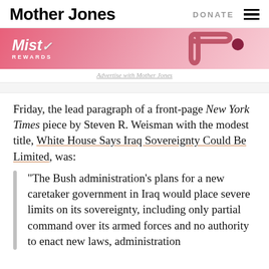Mother Jones | DONATE
[Figure (illustration): Mist Rewards advertisement banner with pink gradient background and decorative graphic element]
Advertise with Mother Jones
Friday, the lead paragraph of a front-page New York Times piece by Steven R. Weisman with the modest title, White House Says Iraq Sovereignty Could Be Limited, was:
“The Bush administration’s plans for a new caretaker government in Iraq would place severe limits on its sovereignty, including only partial command over its armed forces and no authority to enact new laws, administration